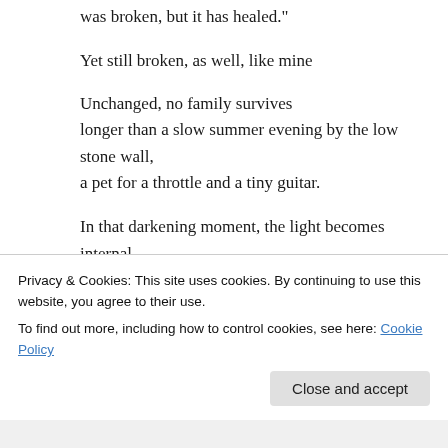was broken, but it has healed."
Yet still broken, as well, like mine
Unchanged, no family survives longer than a slow summer evening by the low stone wall,
a pet for a throttle and a tiny guitar.
In that darkening moment, the light becomes internal.
Reply
Privacy & Cookies: This site uses cookies. By continuing to use this website, you agree to their use.
To find out more, including how to control cookies, see here: Cookie Policy
Close and accept